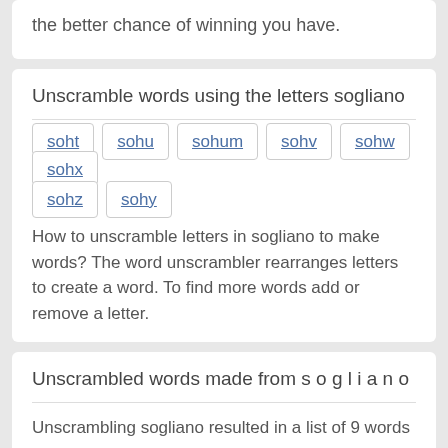the better chance of winning you have.
Unscramble words using the letters sogliano
soht
sohu
sohum
sohv
sohw
sohx
sohz
sohy
How to unscramble letters in sogliano to make words? The word unscrambler rearranges letters to create a word. To find more words add or remove a letter.
Unscrambled words made from s o g l i a n o
Unscrambling sogliano resulted in a list of 9 words